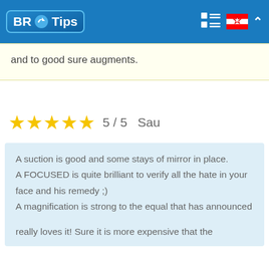BR Tips
and to good sure augments.
5 / 5  Sau
A suction is good and some stays of mirror in place.
A FOCUSED is quite brilliant to verify all the hate in your face and his remedy ;)
A magnification is strong to the equal that has announced

really loves it! Sure it is more expensive that the